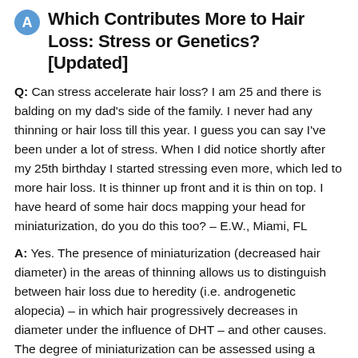Which Contributes More to Hair Loss: Stress or Genetics? [Updated]
Q: Can stress accelerate hair loss? I am 25 and there is balding on my dad's side of the family. I never had any thinning or hair loss till this year. I guess you can say I've been under a lot of stress. When I did notice shortly after my 25th birthday I started stressing even more, which led to more hair loss. It is thinner up front and it is thin on top. I have heard of some hair docs mapping your head for miniaturization, do you do this too? – E.W., Miami, FL
A: Yes. The presence of miniaturization (decreased hair diameter) in the areas of thinning allows us to distinguish between hair loss due to heredity (i.e. androgenetic alopecia) – in which hair progressively decreases in diameter under the influence of DHT – and other causes. The degree of miniaturization can be assessed using a hand-held